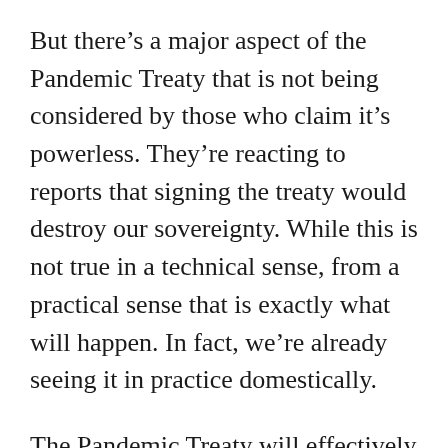But there's a major aspect of the Pandemic Treaty that is not being considered by those who claim it's powerless. They're reacting to reports that signing the treaty would destroy our sovereignty. While this is not true in a technical sense, from a practical sense that is exactly what will happen. In fact, we're already seeing it in practice domestically.
The Pandemic Treaty will effectively replace the FDA and the CDC with the WHO when it comes to pandemic response guidance. Neither the FDA nor the CDC